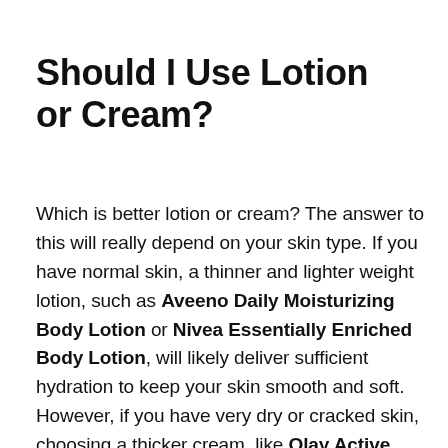Should I Use Lotion or Cream?
Which is better lotion or cream?  The answer to this will really depend on your skin type.  If you have normal skin, a thinner and lighter weight lotion, such as Aveeno Daily Moisturizing Body Lotion or Nivea Essentially Enriched Body Lotion, will likely deliver sufficient hydration to keep your skin smooth and soft. However, if you have very dry or cracked skin, choosing a thicker cream, like Olay Active